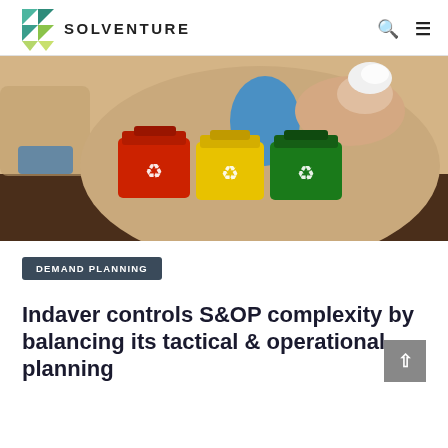SOLVENTURE
[Figure (photo): A person in a beige blazer holding a crumpled piece of paper above three small colored recycling bins (red, yellow, green) with recycling symbols on a dark wooden table.]
DEMAND PLANNING
Indaver controls S&OP complexity by balancing its tactical & operational planning